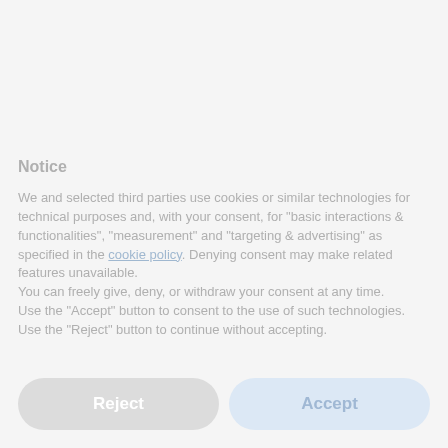Notice
We and selected third parties use cookies or similar technologies for technical purposes and, with your consent, for "basic interactions & functionalities", "measurement" and "targeting & advertising" as specified in the cookie policy. Denying consent may make related features unavailable.
You can freely give, deny, or withdraw your consent at any time.
Use the "Accept" button to consent to the use of such technologies. Use the "Reject" button to continue without accepting.